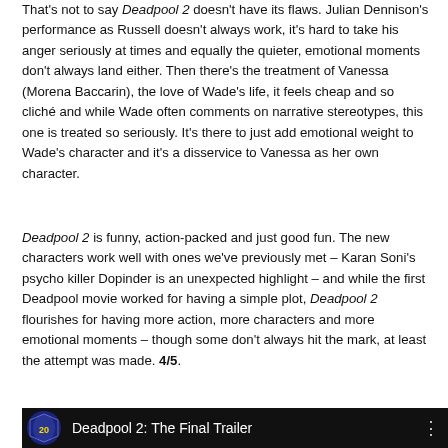That's not to say Deadpool 2 doesn't have its flaws. Julian Dennison's performance as Russell doesn't always work, it's hard to take his anger seriously at times and equally the quieter, emotional moments don't always land either. Then there's the treatment of Vanessa (Morena Baccarin), the love of Wade's life, it feels cheap and so cliché and while Wade often comments on narrative stereotypes, this one is treated so seriously. It's there to just add emotional weight to Wade's character and it's a disservice to Vanessa as her own character.
Deadpool 2 is funny, action-packed and just good fun. The new characters work well with ones we've previously met – Karan Soni's psycho killer Dopinder is an unexpected highlight – and while the first Deadpool movie worked for having a simple plot, Deadpool 2 flourishes for having more action, more characters and more emotional moments – though some don't always hit the mark, at least the attempt was made. 4/5.
[Figure (screenshot): Video thumbnail for 'Deadpool 2: The Final Trailer' with 20th Century Fox logo on black background]